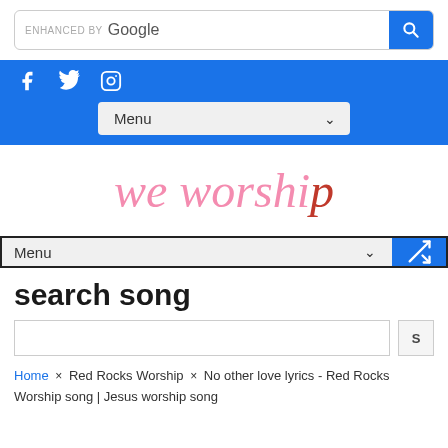[Figure (screenshot): Google search bar with 'ENHANCED BY Google' label and blue search button]
Blue navigation bar with social media icons (Facebook, Twitter, Instagram) and Menu dropdown
[Figure (logo): we worship logo in pink and red italic serif font, partially cropped]
Menu dropdown and shuffle button navigation bar
search song
[Figure (screenshot): Search input field with S button]
Home × Red Rocks Worship × No other love lyrics - Red Rocks Worship song | Jesus worship song